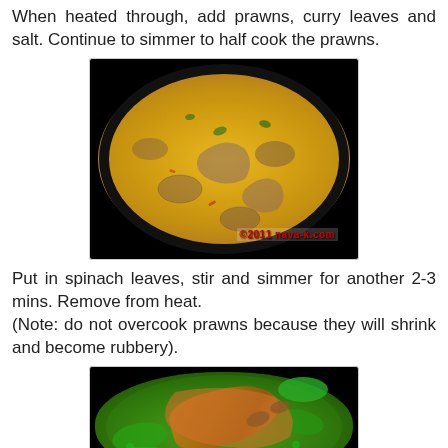When heated through, add prawns, curry leaves and salt. Continue to simmer to half cook the prawns.
[Figure (photo): A pan with yellow/golden curry containing prawns, onions, and curry leaves simmering. Watermark reading '©2011 nava-k.com' visible at the bottom right.]
Put in spinach leaves, stir and simmer for another 2-3 mins. Remove from heat.
(Note: do not overcook prawns because they will shrink and become rubbery).
[Figure (photo): A pan with green spinach curry containing large prawns and green vegetables (spinach leaves and peas).]